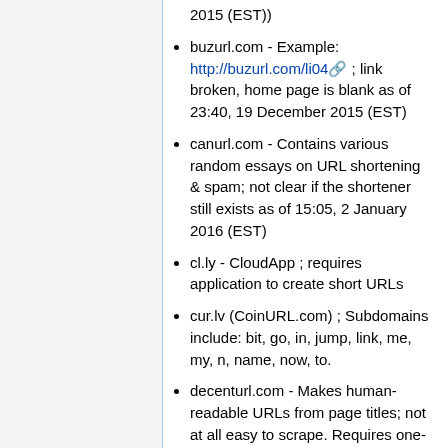2015 (EST))
buzurl.com - Example: http://buzurl.com/li04 ; link broken, home page is blank as of 23:40, 19 December 2015 (EST)
canurl.com - Contains various random essays on URL shortening & spam; not clear if the shortener still exists as of 15:05, 2 January 2016 (EST)
cl.ly - CloudApp ; requires application to create short URLs
cur.lv (CoinURL.com) ; Subdomains include: bit, go, in, jump, link, me, my, n, name, now, to.
decenturl.com - Makes human-readable URLs from page titles; not at all easy to scrape. Requires one-time payment and registration to